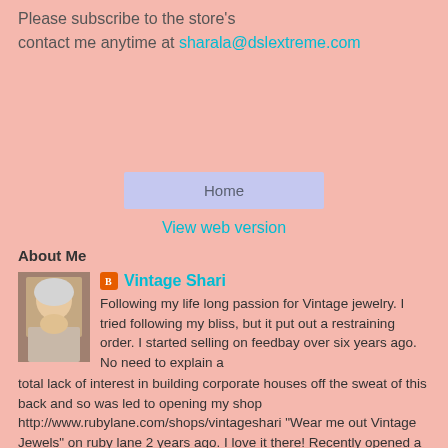Please subscribe to the store's
contact me anytime at sharala@dslextreme.com
Home
View web version
About Me
Vintage Shari
Following my life long passion for Vintage jewelry. I tried following my bliss, but it put out a restraining order. I started selling on feedbay over six years ago. No need to explain a total lack of interest in building corporate houses off the sweat of this back and so was led to opening my shop http://www.rubylane.com/shops/vintageshari "Wear me out Vintage Jewels" on ruby lane 2 years ago. I love it there! Recently opened a